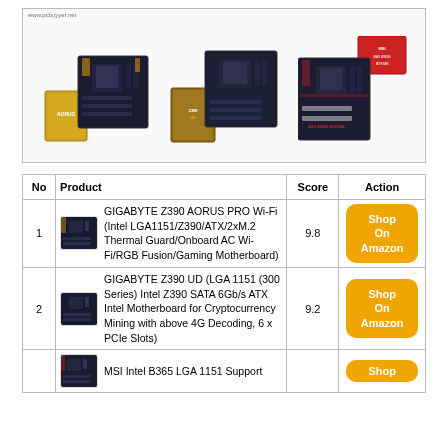[Figure (photo): Banner image showing three gaming motherboard products side by side on a white background with a watermark URL at top left]
| No | Product | Score | Action |
| --- | --- | --- | --- |
| 1 | GIGABYTE Z390 AORUS PRO Wi-Fi (Intel LGA1151/Z390/ATX/2xM.2 Thermal Guard/Onboard AC Wi-Fi/RGB Fusion/Gaming Motherboard) | 9.8 | Shop On Amazon |
| 2 | GIGABYTE Z390 UD (LGA 1151 (300 Series) Intel Z390 SATA 6Gb/s ATX Intel Motherboard for Cryptocurrency Mining with above 4G Decoding, 6 x PCIe Slots) | 9.2 | Shop On Amazon |
| 3 | MSI Intel B365 LGA 1151 Support ... |  | Shop |